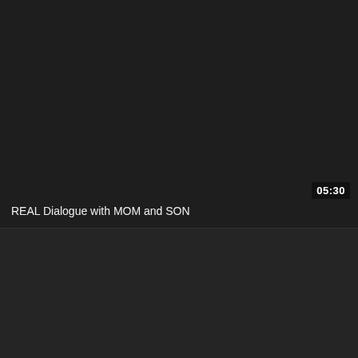[Figure (screenshot): Dark video thumbnail panel with a duration badge showing 05:30 in the upper-right area]
05:30
REAL Dialogue with MOM and SON
[Figure (screenshot): Dark lower panel below divider line]